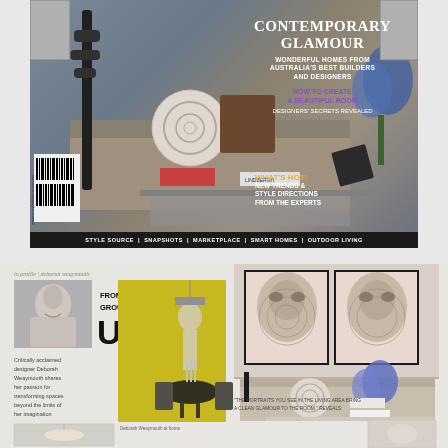[Figure (photo): Magazine cover showing a contemporary living room with decorative pillows, a tall black lamp, books on a coffee table including LINDBERGH, flowers. Text overlaid: CONTEMPORARY GLAMOUR, WONDERFUL HOMES FROM AUSTRALIA'S BEST BUILDERS AND DESIGNERS, HOW TO CREATE A BEAUTIFUL ROOM, DESIGNERS' SECRETS REVEALED, WHAT'S HOT NEW TRENDS & STYLE DIRECTIONS FROM THE EXPERTS. Bottom bar: STYLE SOURCE | SNAPSHOTS | MARKETPLACE | SMART HOMES | OUTDOOR LIVING.]
[Figure (photo): Interior design magazine spread. Left: In profile article about Deborah Weaymouth titled FROM THE GROUND UP with portrait photo of smiling woman and large yellow-walled dining room photo. Right: Living room with large framed portrait artworks and decorative accessories. Caption text partially visible.]